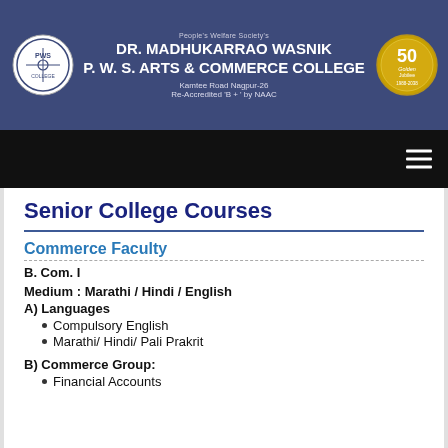[Figure (logo): College header banner with institutional logo on left, '50 Golden Jubilee' badge on right, and college name text centered on dark blue background]
Senior College Courses
Commerce Faculty
B. Com. I
Medium : Marathi / Hindi / English
A) Languages
Compulsory English
Marathi/ Hindi/ Pali Prakrit
B) Commerce Group:
Financial Accounts